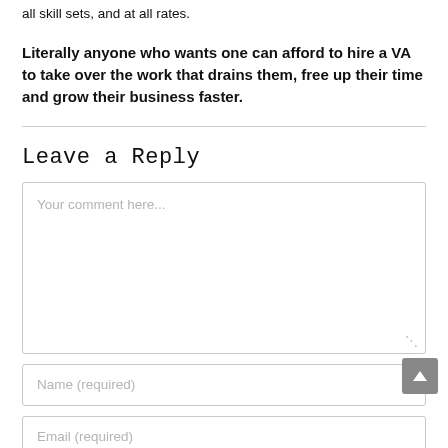all skill sets, and at all rates.
Literally anyone who wants one can afford to hire a VA to take over the work that drains them, free up their time and grow their business faster.
Leave a Reply
Your comment here...
Name (required)
Email (required)